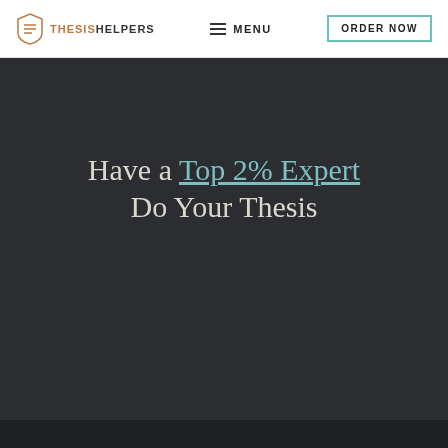THESIS HELPERS | MENU | ORDER NOW
Have a Top 2% Expert Do Your Thesis
[Figure (screenshot): Scrolled hero section showing ghost text 'Have a Top 2% Expert Do Your Thesis' and a teal CTA button reading 'GET A FREE QUOTE']